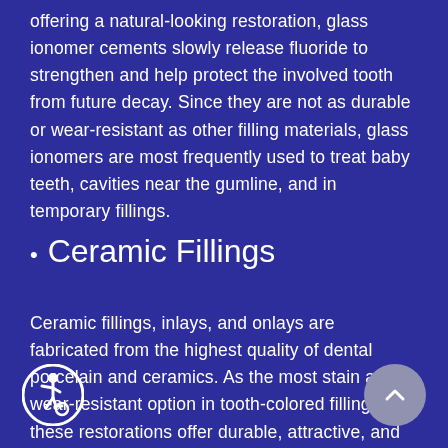offering a natural-looking restoration, glass ionomer cements slowly release fluoride to strengthen and help protect the involved tooth from future decay. Since they are not as durable or wear-resistant as other filling materials, glass ionomers are most frequently used to treat baby teeth, cavities near the gumline, and in temporary fillings.
Ceramic Fillings
Ceramic fillings, inlays, and onlays are fabricated from the highest quality of dental porcelain and ceramics. As the most stain and wear-resistant option in tooth-colored fillings, these restorations offer durable, attractive, and long-lasting results. While "direct" fillings such as dental amalgam and